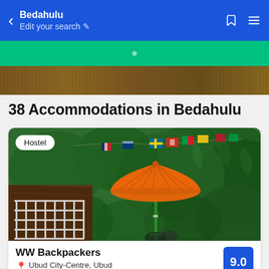Bedahulu / Edit your search
38 Accommodations in Bedahulu
[Figure (photo): Overhead view of a hostel outdoor area with an orange parasol umbrella, white metal grid furniture, green jungle foliage in background, and colorful international flags strung above. A 'Hostel' badge overlays the top-left of the image.]
WW Backpackers
Ubud City-Centre, Ubud
3.17 mi from center
9.0
344 reviews
★